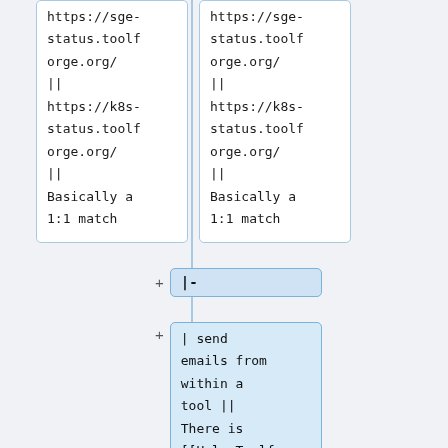| https://sge-status.toolf
orge.org/
||
https://k8s-status.toolf
orge.org/
||
Basically a
1:1 match | https://sge-status.toolf
orge.org/
||
https://k8s-status.toolf
orge.org/
||
Basically a
1:1 match |
|-
| send emails from within a tool || There is [[Help:Toolforge/Email | a customizatio...